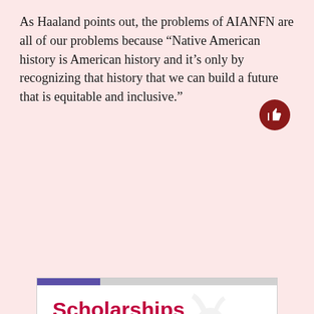As Haaland points out, the problems of AIANFN are all of our problems because “Native American history is American history and it’s only by recognizing that history that we can build a future that is equitable and inclusive.”
[Figure (infographic): Rider University advertisement banner. Shows 'Scholarships for transfer students' in bold red text, 'NO OUT-OF-STATE TUITION' in black bold. Colorful dots (red, yellow, red, blue) on the right. Bottom section has Rider University logo in crimson and a 'LEARN MORE' button.]